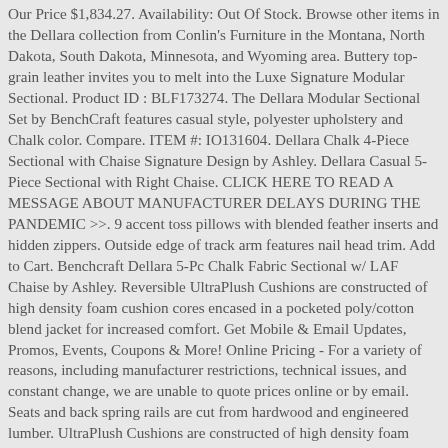Our Price $1,834.27. Availability: Out Of Stock. Browse other items in the Dellara collection from Conlin's Furniture in the Montana, North Dakota, South Dakota, Minnesota, and Wyoming area. Buttery top-grain leather invites you to melt into the Luxe Signature Modular Sectional. Product ID : BLF173274. The Dellara Modular Sectional Set by BenchCraft features casual style, polyester upholstery and Chalk color. Compare. ITEM #: IO131604. Dellara Chalk 4-Piece Sectional with Chaise Signature Design by Ashley. Dellara Casual 5-Piece Sectional with Right Chaise. CLICK HERE TO READ A MESSAGE ABOUT MANUFACTURER DELAYS DURING THE PANDEMIC >>. 9 accent toss pillows with blended feather inserts and hidden zippers. Outside edge of track arm features nail head trim. Add to Cart. Benchcraft Dellara 5-Pc Chalk Fabric Sectional w/ LAF Chaise by Ashley. Reversible UltraPlush Cushions are constructed of high density foam cushion cores encased in a pocketed poly/cotton blend jacket for increased comfort. Get Mobile & Email Updates, Promos, Events, Coupons & More! Online Pricing - For a variety of reasons, including manufacturer restrictions, technical issues, and constant change, we are unable to quote prices online or by email. Seats and back spring rails are cut from hardwood and engineered lumber. UltraPlush Cushions are constructed of high density foam cushion